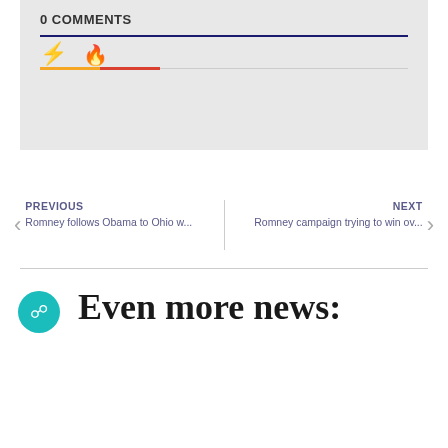0 COMMENTS
PREVIOUS
Romney follows Obama to Ohio w...
NEXT
Romney campaign trying to win ov...
Even more news: